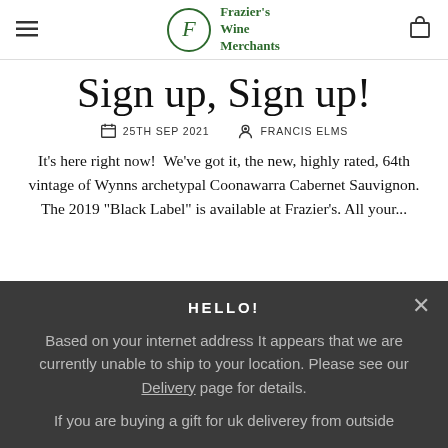Frazier's Wine Merchants
Sign up, Sign up!
25TH SEP 2021   FRANCIS ELMS
It's here right now!  We've got it, the new, highly rated, 64th vintage of Wynns archetypal Coonawarra Cabernet Sauvignon. The 2019 "Black Label" is available at Frazier's. All your...
HELLO!
Based on your internet address It appears that we are currently unable to ship to your location. Please see our Delivery page for details.
If you are buying a gift for uk deliverey from outside